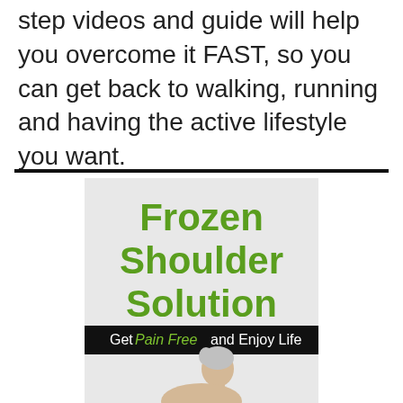step videos and guide will help you overcome it FAST, so you can get back to walking, running and having the active lifestyle you want.
[Figure (illustration): Book cover for 'Frozen Shoulder Solution' with tagline 'Get Pain Free and Enjoy Life' and an image of a person touching their shoulder]